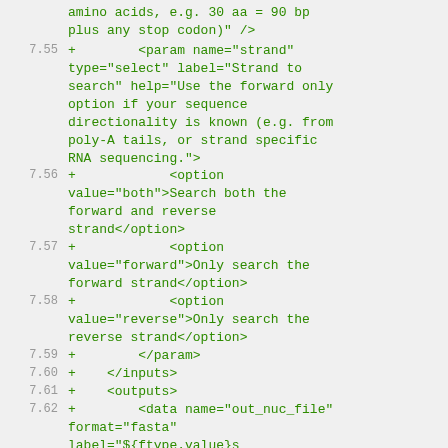amino acids, e.g. 30 aa = 90 bp plus any stop codon)" />
7.55  +        <param name="strand" type="select" label="Strand to search" help="Use the forward only option if your sequence directionality is known (e.g. from poly-A tails, or strand specific RNA sequencing.">
7.56  +            <option value="both">Search both the forward and reverse strand</option>
7.57  +            <option value="forward">Only search the forward strand</option>
7.58  +            <option value="reverse">Only search the reverse strand</option>
7.59  +        </param>
7.60  +    </inputs>
7.61  +    <outputs>
7.62  +        <data name="out_nuc_file" format="fasta" label="${ftype.value}s (nucleotides)" />
7.63  +        <data name="out_prot_file" format="fasta" label="${ftype.value}s (amino acids)" />